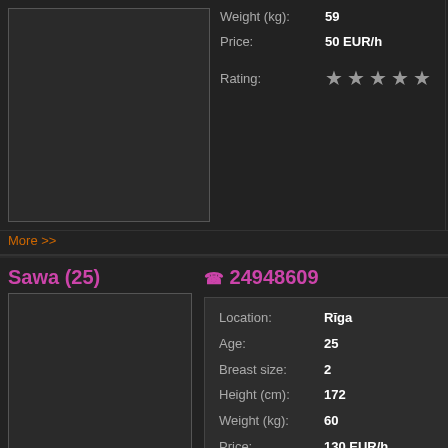Weight (kg): 59
Price: 50 EUR/h
Rating: ★★★★★
More >>
More >>
Sawa (25)
☎ 24948609
LERA (
| Field | Value |
| --- | --- |
| Location: | Rīga |
| Age: | 25 |
| Breast size: | 2 |
| Height (cm): | 172 |
| Weight (kg): | 60 |
| Price: | 130 EUR/h |
| Rating: | ★★★★★ |
More >>
More >>
Pages: 1 2 3 4 5 6 7 8 9 10 11 12 13 14 15 16 17 18 19 20 21 22 23 24 25 26 27 …
48 49 50 51 52 53 54 55 56 57 58 59 60 61 62 63 64 65 66 67 68 69 70 71 72 73 74…
95 96 97 98 99 100 101 102 103…